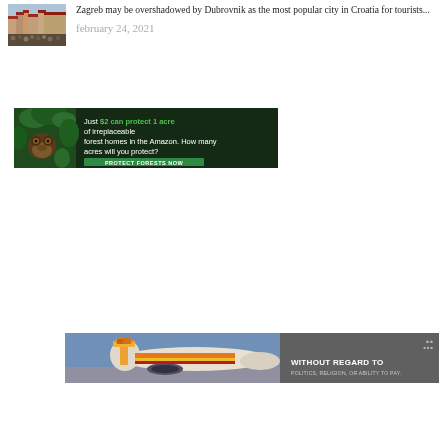[Figure (photo): Thumbnail photo of Zagreb city with crowd and red-roofed buildings]
Zagreb may be overshadowed by Dubrovnik as the most popular city in Croatia for tourists...
february 24, 2021
[Figure (infographic): Amazon conservation ad banner: Just $2 can protect 1 acre of irreplaceable forest homes in the Amazon. How many acres will you protect? PROTECT FORESTS NOW]
[Figure (photo): Cargo airline ad banner showing airplane being loaded with cargo. Text: WITHOUT REGARD TO POLITICS, RELIGION, OR ABILITY TO PAY.]